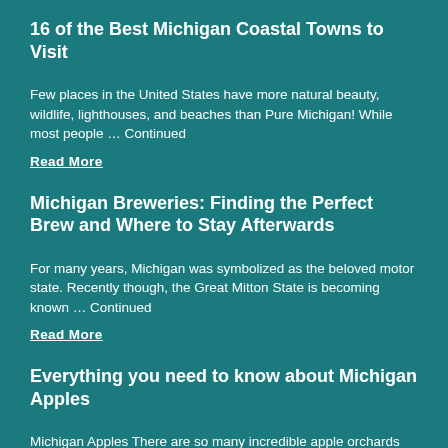16 of the Best Michigan Coastal Towns to Visit
Few places in the United States have more natural beauty, wildlife, lighthouses, and beaches than Pure Michigan! While most people … Continued
Read More
Michigan Breweries: Finding the Perfect Brew and Where to Stay Afterwards
For many years, Michigan was symbolized as the beloved motor state. Recently though, the Great Mitton State is becoming known … Continued
Read More
Everything you need to know about Michigan Apples
Michigan Apples There are so many incredible apple orchards and cider mills in Michigan. If you are looking for a … Continued
Read More